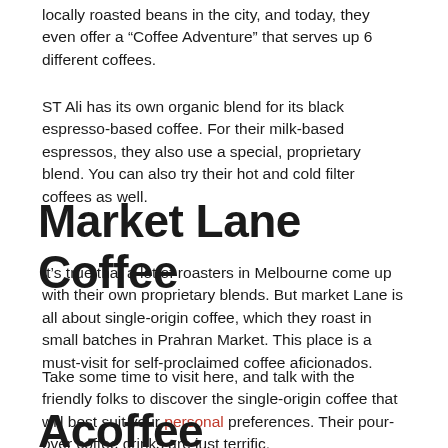locally roasted beans in the city, and today, they even offer a “Coffee Adventure” that serves up 6 different coffees.
ST Ali has its own organic blend for its black espresso-based coffee. For their milk-based espressos, they also use a special, proprietary blend. You can also try their hot and cold filter coffees as well.
Market Lane Coffee
It’s true that a lot of roasters in Melbourne come up with their own proprietary blends. But market Lane is all about single-origin coffee, which they roast in small batches in Prahran Market. This place is a must-visit for self-proclaimed coffee aficionados.
Take some time to visit here, and talk with the friendly folks to discover the single-origin coffee that will best suit your personal preferences. Their pour-over coffee drinks are just terrific.
Acoffee